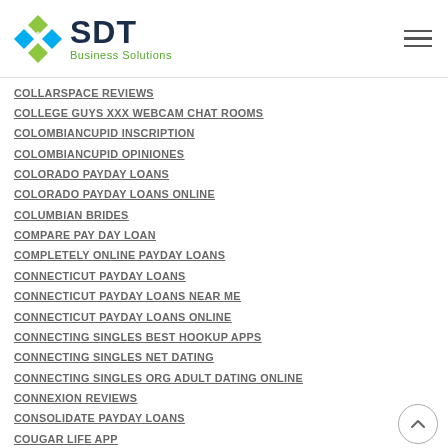SDT Business Solutions
COLLARSPACE REVIEWS
COLLEGE GUYS XXX WEBCAM CHAT ROOMS
COLOMBIANCUPID INSCRIPTION
COLOMBIANCUPID OPINIONES
COLORADO PAYDAY LOANS
COLORADO PAYDAY LOANS ONLINE
COLUMBIAN BRIDES
COMPARE PAY DAY LOAN
COMPLETELY ONLINE PAYDAY LOANS
CONNECTICUT PAYDAY LOANS
CONNECTICUT PAYDAY LOANS NEAR ME
CONNECTICUT PAYDAY LOANS ONLINE
CONNECTING SINGLES BEST HOOKUP APPS
CONNECTING SINGLES NET DATING
CONNECTING SINGLES ORG ADULT DATING ONLINE
CONNEXION REVIEWS
CONSOLIDATE PAYDAY LOANS
COUGAR LIFE APP